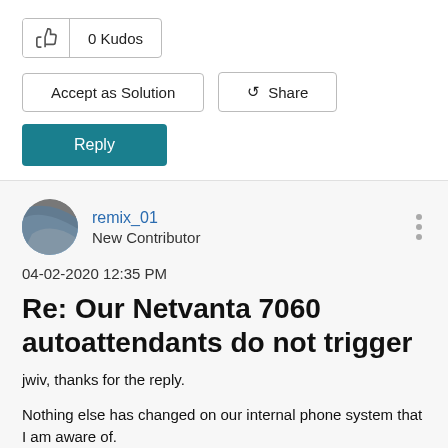[Figure (other): Thumbs up kudos button showing 0 Kudos]
Accept as Solution
Share
Reply
remix_01
New Contributor
04-02-2020 12:35 PM
Re: Our Netvanta 7060 autoattendants do not trigger
jwiv, thanks for the reply.
Nothing else has changed on our internal phone system that I am aware of.
Our internal phones (Adtran IP 712 and PolyCom